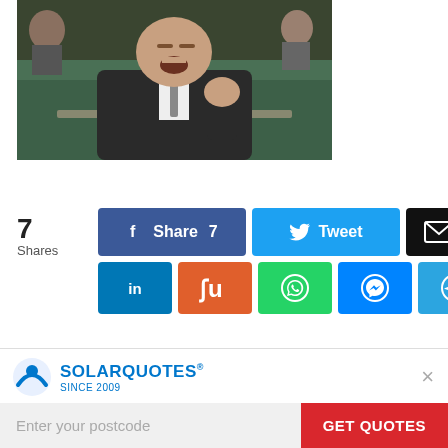[Figure (photo): Man in dark suit sitting in what appears to be parliament, gesturing with fist raised, mouth open, green leather seats visible in background]
7
Shares
[Figure (infographic): Social share buttons row 1: Facebook Share 7, Tweet, Email; row 2: LinkedIn, StumbleUpon, WhatsApp, Messenger, Telegram]
Bob Baldwin, a man who once compared the impact
[Figure (logo): SolarQuotes logo with house/arc icon, text SOLARQUOTES SINCE 2009, with postcode entry field and GET QUOTES button]